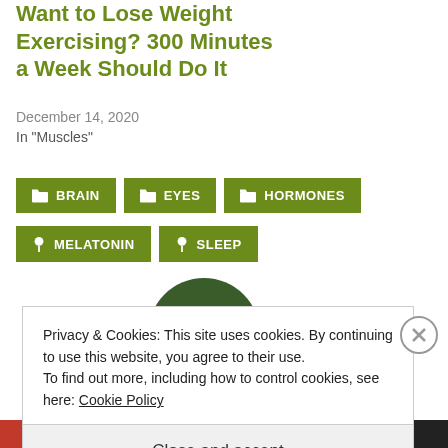Want to Lose Weight Exercising? 300 Minutes a Week Should Do It
December 14, 2020
In "Muscles"
BRAIN
EYES
HORMONES
MELATONIN
SLEEP
[Figure (photo): Circular profile photo of a person outdoors with green foliage background]
Privacy & Cookies: This site uses cookies. By continuing to use this website, you agree to their use.
To find out more, including how to control cookies, see here: Cookie Policy
Close and accept